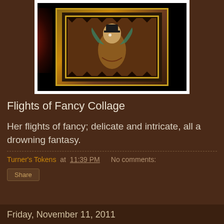[Figure (photo): A framed collage artwork against a dark background with a red glow on the left side. The collage features an ornate illustration of a figure with decorative border patterns.]
Flights of Fancy Collage
Her flights of fancy; delicate and intricate, all a drowning fantasy.
Turner's Tokens at 11:39 PM   No comments:
Share
Friday, November 11, 2011